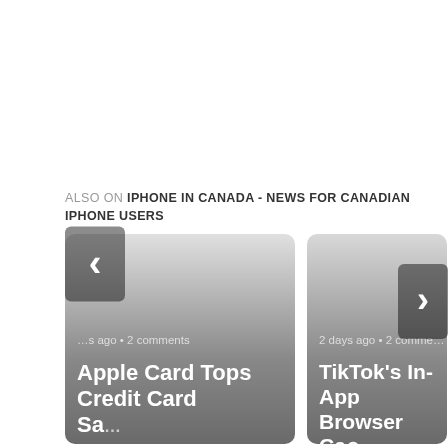ALSO ON IPHONE IN CANADA - NEWS FOR CANADIAN IPHONE USERS
[Figure (screenshot): Two article cards in a horizontal carousel. Left card: 'Apple Card Tops Credit Card Sa...' with '...s ago • 2 comments'. Right card: 'TikTok's In-App Browser Ca...' with '2 days ago • 2 comme...'. Navigation arrows on left and right sides. A popup overlay appears at the bottom center.]